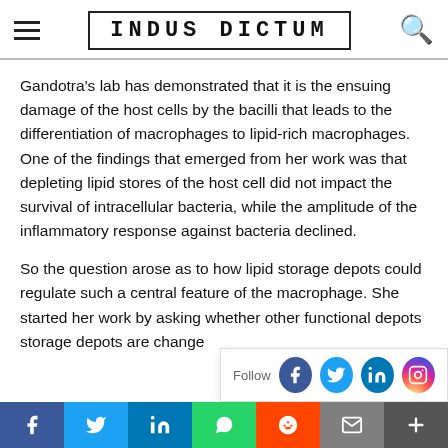INDUS DICTUM
Gandotra’s lab has demonstrated that it is the ensuing damage of the host cells by the bacilli that leads to the differentiation of macrophages to lipid-rich macrophages. One of the findings that emerged from her work was that depleting lipid stores of the host cell did not impact the survival of intracellular bacteria, while the amplitude of the inflammatory response against bacteria declined.
So the question arose as to how lipid storage depots could regulate such a central feature of the macrophage. She started her work by asking whether other functional d... storage depots are change...